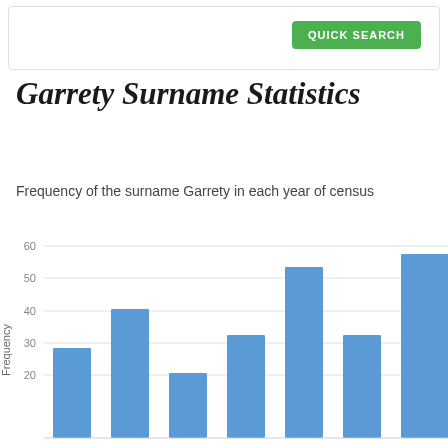QUICK SEARCH
Garrety Surname Statistics
Frequency of the surname Garrety in each year of census
[Figure (bar-chart): Garrety Surname Statistics]